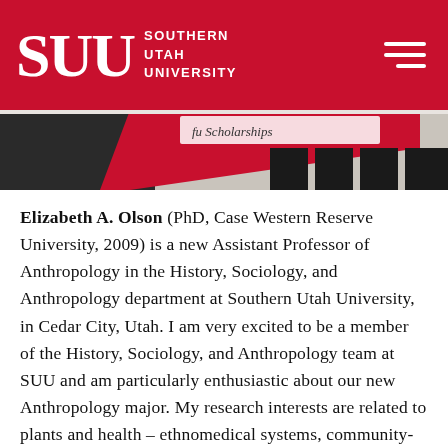[Figure (logo): Southern Utah University (SUU) logo in white on red background with hamburger menu icon]
[Figure (photo): A partially obscured photograph showing what appears to be handwritten text 'Scholarships' on a red background with dark shapes]
Elizabeth A. Olson (PhD, Case Western Reserve University, 2009) is a new Assistant Professor of Anthropology in the History, Sociology, and Anthropology department at Southern Utah University, in Cedar City, Utah. I am very excited to be a member of the History, Sociology, and Anthropology team at SUU and am particularly enthusiastic about our new Anthropology major. My research interests are related to plants and health – ethnomedical systems, community-based development, international health, and